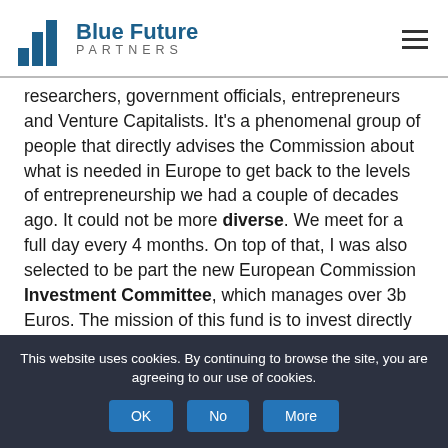Blue Future Partners
researchers, government officials, entrepreneurs and Venture Capitalists. It's a phenomenal group of people that directly advises the Commission about what is needed in Europe to get back to the levels of entrepreneurship we had a couple of decades ago. It could not be more diverse. We meet for a full day every 4 months. On top of that, I was also selected to be part the new European Commission Investment Committee, which manages over 3b Euros. The mission of this fund is to invest directly into equity into the companies that
This website uses cookies. By continuing to browse the site, you are agreeing to our use of cookies.